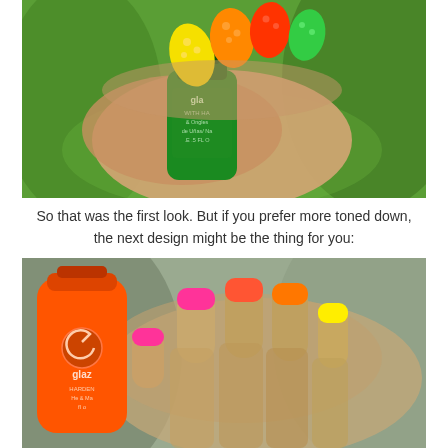[Figure (photo): Close-up photo of neon-painted nails (yellow, orange, red, green) holding a green China Glaze nail polish bottle. Nails have colorful dot designs against bright neon base colors.]
So that was the first look. But if you prefer more toned down, the next design might be the thing for you:
[Figure (photo): Close-up photo of nails with nude/tan base and neon French tip manicure in pink, orange, coral, and yellow, holding an orange China Glaze nail polish bottle.]